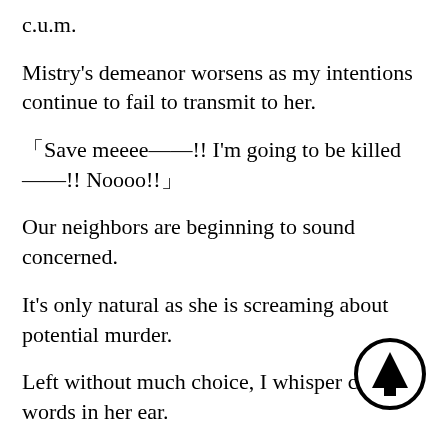c.u.m.
Mistry's demeanor worsens as my intentions continue to fail to transmit to her.
「Save meeee——!! I'm going to be killed——!! Noooo!!」
Our neighbors are beginning to sound concerned.
It's only natural as she is screaming about potential murder.
Left without much choice, I whisper certain words in her ear.
Her resistance weakens.
[Figure (illustration): An upward-pointing arrow inside a circle, used as a navigation button, positioned in the bottom-right area of the page.]
While pressing against her weak point, I turn her body and